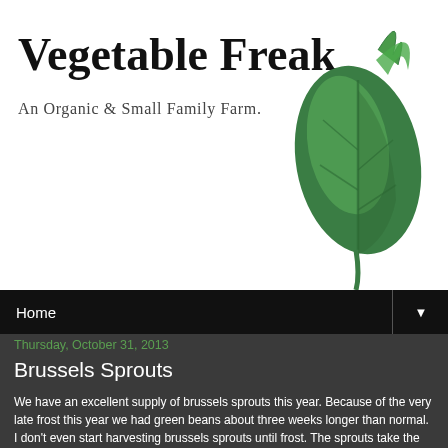Vegetable Freak
An Organic & Small Family Farm.
[Figure (illustration): Green leaf/sprout logo illustration in the top right corner of the header]
Home
Thursday, October 31, 2013
Brussels Sprouts
We have an excellent supply of brussels sprouts this year. Because of the very late frost this year we had green beans about three weeks longer than normal. I don't even start harvesting brussels sprouts until frost. The sprouts take the place of green beans in our market display.
Anonymous at 10/31/2013   No comments:
Share